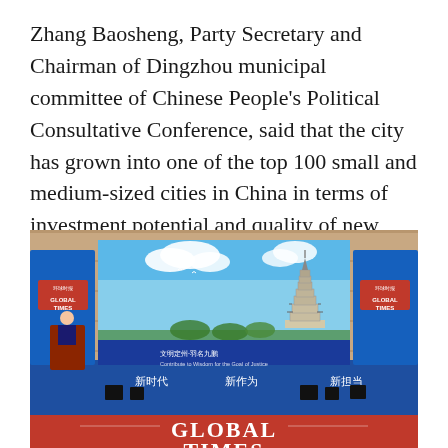Zhang Baosheng, Party Secretary and Chairman of Dingzhou municipal committee of Chinese People's Political Consultative Conference, said that the city has grown into one of the top 100 small and medium-sized cities in China in terms of investment potential and quality of new urbanization.
[Figure (photo): A conference event stage with a large LED screen displaying a Chinese pagoda tower against a blue sky with clouds. The stage has blue decorative panels on either side with 'Global Times' branding. A speaker stands at a podium on the left. Chinese text on screen reads 文明定州·羽名九鹏 and 新时代 新作为. The bottom of the image shows a red banner reading 'GLOBAL TIMES'.]